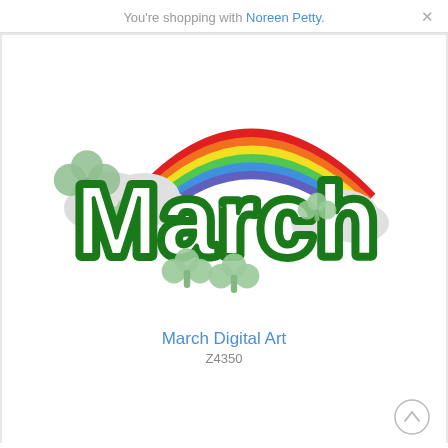You're shopping with Noreen Petty.
[Figure (illustration): March digital art illustration featuring large green 'March' lettering with dark green outline, surrounded by shamrocks/clovers and a colorful rainbow arching over white clouds on a white background.]
March Digital Art
Z4350